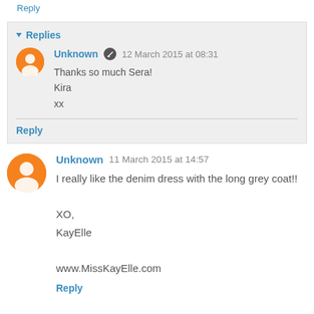Reply
Replies
Unknown  12 March 2015 at 08:31
Thanks so much Sera!
Kira
xx
Reply
Unknown  11 March 2015 at 14:57
I really like the denim dress with the long grey coat!!

XO,
KayElle

www.MissKayElle.com
Reply